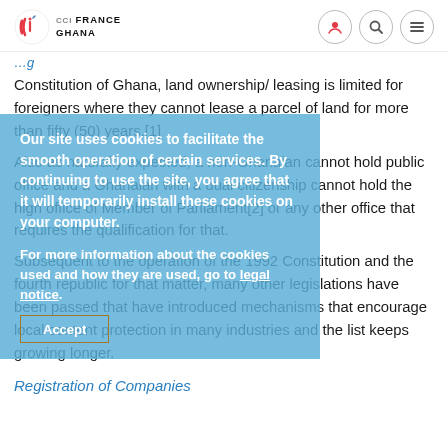[Figure (logo): CCI France Ghana logo with red and blue emblem and text]
Constitution of Ghana, land ownership/ leasing is limited for foreigners where they cannot lease a parcel of land for more than fifty (50) years.[1]
Also as naturally expected, a non-Ghanaian cannot hold public office and a Ghanaian with a dual citizenship cannot hold the high office of Member of Parliament[2] or any other office that requires the qualification for that.
Our site uses cookies to facilitate the smooth operation of certain services. By continuing to use the site, you agree that it will temporarily install these cookies on your computer.
For more information about the cookies used and how they are used, go to legal notice.
Subsequent to the operation of the 1992 Constitution and the fourth republic for that matter, many other legislations have been passed that have introduced mechanisms that encourage local content protection in many industries and the list keeps growing longer.
Registration of Companies